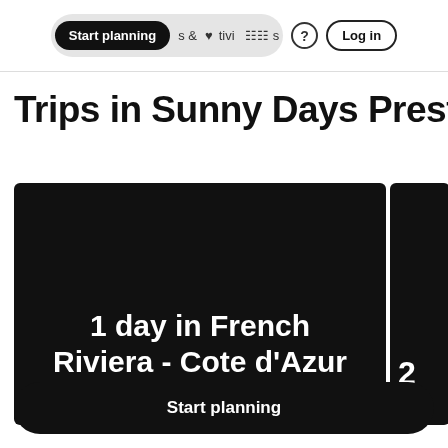Start planning & Activities ? Log in
Trips in Sunny Days Prestige
[Figure (screenshot): Travel card with black background showing '1 day in French Riviera - Cote d'Azur' by a user from France]
BY A USER FROM FRANCE
[Figure (screenshot): Partial travel card showing '2' and 'BY A' on black background]
Start planning